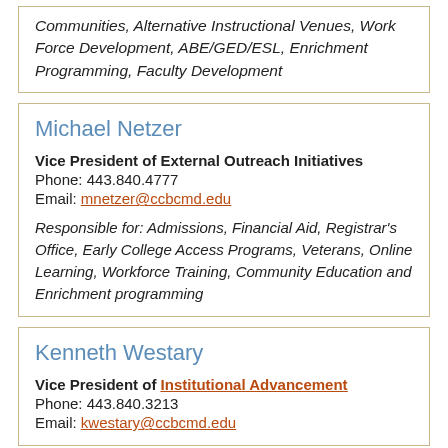Communities, Alternative Instructional Venues, Work Force Development, ABE/GED/ESL, Enrichment Programming, Faculty Development
Michael Netzer
Vice President of External Outreach Initiatives
Phone: 443.840.4777
Email: mnetzer@ccbcmd.edu
Responsible for: Admissions, Financial Aid, Registrar's Office, Early College Access Programs, Veterans, Online Learning, Workforce Training, Community Education and Enrichment programming
Kenneth Westary
Vice President of Institutional Advancement
Phone: 443.840.3213
Email: kwestary@ccbcmd.edu